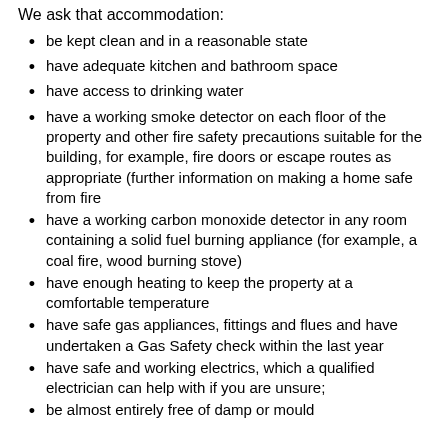We ask that accommodation:
be kept clean and in a reasonable state
have adequate kitchen and bathroom space
have access to drinking water
have a working smoke detector on each floor of the property and other fire safety precautions suitable for the building, for example, fire doors or escape routes as appropriate (further information on making a home safe from fire
have a working carbon monoxide detector in any room containing a solid fuel burning appliance (for example, a coal fire, wood burning stove)
have enough heating to keep the property at a comfortable temperature
have safe gas appliances, fittings and flues and have undertaken a Gas Safety check within the last year
have safe and working electrics, which a qualified electrician can help with if you are unsure;
be almost entirely free of damp or mould